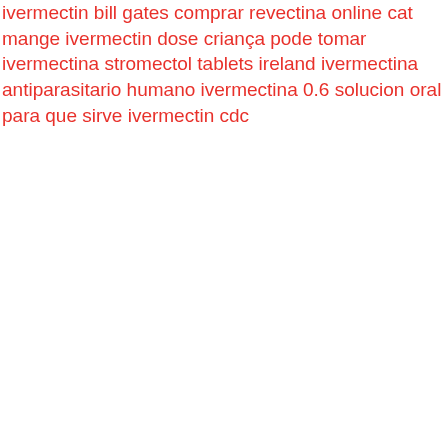ivermectin bill gates comprar revectina online cat mange ivermectin dose criança pode tomar ivermectina stromectol tablets ireland ivermectina antiparasitario humano ivermectina 0.6 solucion oral para que sirve ivermectin cdc